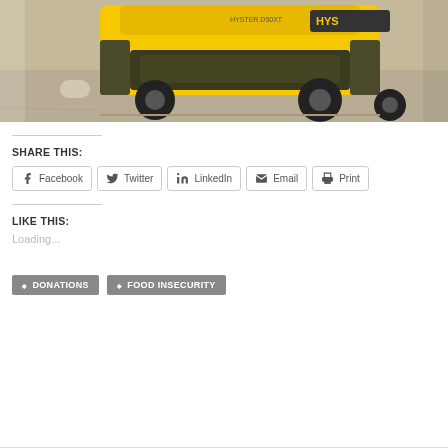[Figure (photo): A yellow Hyster forklift photographed from above/behind on a gravel surface, showing the rear of the machine with large black tires.]
SHARE THIS:
Facebook
Twitter
LinkedIn
Email
Print
LIKE THIS:
Loading...
DONATIONS
FOOD INSECURITY